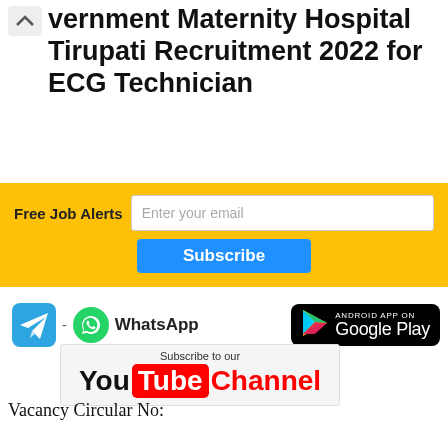vernment Maternity Hospital Tirupati Recruitment 2022 for ECG Technician
[Figure (infographic): Yellow bar with Free Job Alerts label, email input field, and Subscribe button]
[Figure (infographic): Social media row: Telegram icon, WhatsApp icon with label, Google Play button]
[Figure (infographic): Subscribe to our YouTube Channel banner]
Vacancy Circular No: